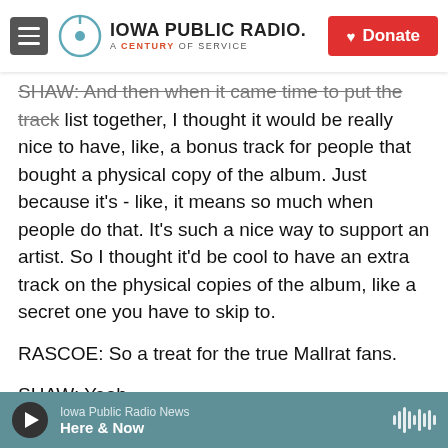Iowa Public Radio. A Century of Service. Donate
SHAW: And then when it came time to put the track list together, I thought it would be really nice to have, like, a bonus track for people that bought a physical copy of the album. Just because it's - like, it means so much when people do that. It's such a nice way to support an artist. So I thought it'd be cool to have an extra track on the physical copies of the album, like a secret one you have to skip to.
RASCOE: So a treat for the true Mallrat fans.
SHAW: Yeah.
RASCOE: Yeah. That's Grace Shaw, who performs
Iowa Public Radio News — Here & Now